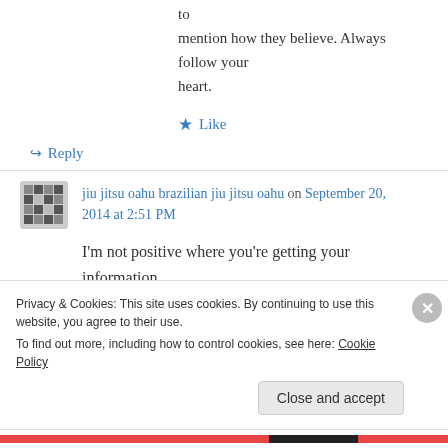to mention how they believe. Always follow your heart.
Like
Reply
jiu jitsu oahu brazilian jiu jitsu oahu on September 20, 2014 at 2:51 PM
I'm not positive where you're getting your information.
Privacy & Cookies: This site uses cookies. By continuing to use this website, you agree to their use.
To find out more, including how to control cookies, see here: Cookie Policy
Close and accept